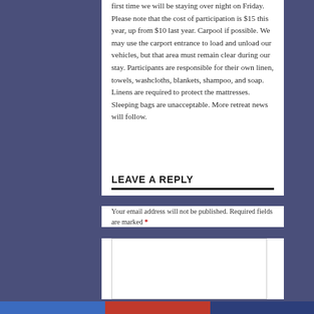first time we will be staying over night on Friday. Please note that the cost of participation is $15 this year, up from $10 last year. Carpool if possible. We may use the carport entrance to load and unload our vehicles, but that area must remain clear during our stay. Participants are responsible for their own linen, towels, washcloths, blankets, shampoo, and soap. Linens are required to protect the mattresses. Sleeping bags are unacceptable. More retreat news will follow.
LEAVE A REPLY
Your email address will not be published. Required fields are marked *